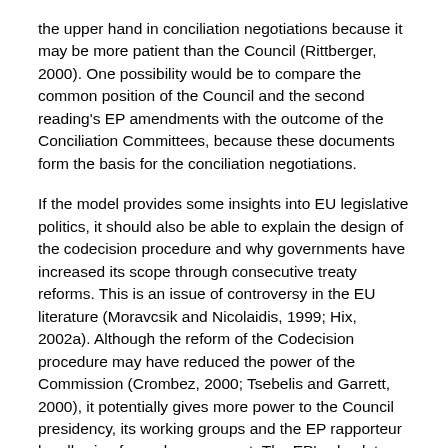the upper hand in conciliation negotiations because it may be more patient than the Council (Rittberger, 2000). One possibility would be to compare the common position of the Council and the second reading's EP amendments with the outcome of the Conciliation Committees, because these documents form the basis for the conciliation negotiations.
If the model provides some insights into EU legislative politics, it should also be able to explain the design of the codecision procedure and why governments have increased its scope through consecutive treaty reforms. This is an issue of controversy in the EU literature (Moravcsik and Nicolaidis, 1999; Hix, 2002a). Although the reform of the Codecision procedure may have reduced the power of the Commission (Crombez, 2000; Tsebelis and Garrett, 2000), it potentially gives more power to the Council presidency, its working groups and the EP rapporteur by allowing for early agreement. The EP's absolute majority requirement for amending the common position of the Council, combined with a decrease in the payoff from having the legislation adopted at a later stage and